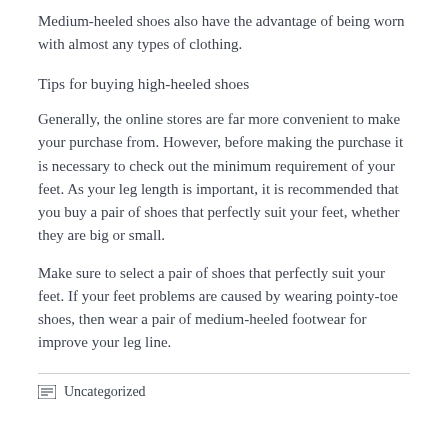Medium-heeled shoes also have the advantage of being worn with almost any types of clothing.
Tips for buying high-heeled shoes
Generally, the online stores are far more convenient to make your purchase from. However, before making the purchase it is necessary to check out the minimum requirement of your feet. As your leg length is important, it is recommended that you buy a pair of shoes that perfectly suit your feet, whether they are big or small.
Make sure to select a pair of shoes that perfectly suit your feet. If your feet problems are caused by wearing pointy-toe shoes, then wear a pair of medium-heeled footwear for improve your leg line.
Uncategorized